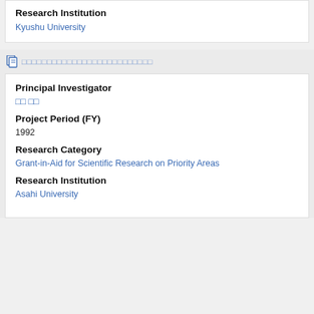Research Institution
Kyushu University
□□□□□□□□□□□□□□□□□□□□□□□□□□
Principal Investigator
□□ □□
Project Period (FY)
1992
Research Category
Grant-in-Aid for Scientific Research on Priority Areas
Research Institution
Asahi University